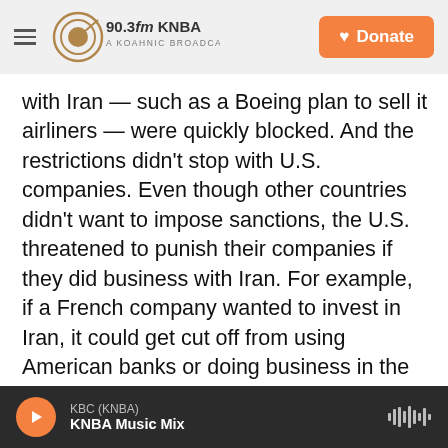90.3fm KNBA A KOAHNIC BROADCAST STATION | Donate
with Iran — such as a Boeing plan to sell it airliners — were quickly blocked. And the restrictions didn't stop with U.S. companies. Even though other countries didn't want to impose sanctions, the U.S. threatened to punish their companies if they did business with Iran. For example, if a French company wanted to invest in Iran, it could get cut off from using American banks or doing business in the giant U.S. economy. That scared off international trade with Iran.
The U.S. worked especially hard to block Iranian oil sales — by far the country's biggest export —
KBC (KNBA) KNBA Music Mix